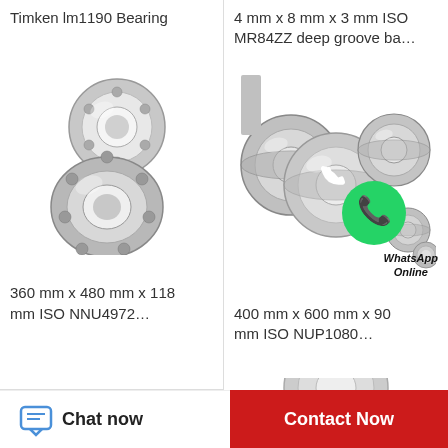Timken lm1190 Bearing
[Figure (photo): Two Timken lm1190 ball bearings, one on top of the other, silver/chrome steel, on white background]
360 mm x 480 mm x 118 mm ISO NNU4972…
4 mm x 8 mm x 3 mm ISO MR84ZZ deep groove ba…
[Figure (photo): Group of assorted deep groove ball bearings of various sizes, silver steel, with WhatsApp Online green logo overlay]
400 mm x 600 mm x 90 mm ISO NUP1080…
[Figure (photo): Partially visible bearing at bottom right, cut off by page edge]
Chat now
Contact Now